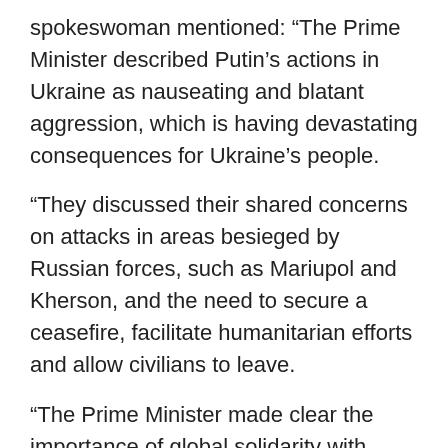spokeswoman mentioned: “The Prime Minister described Putin’s actions in Ukraine as nauseating and blatant aggression, which is having devastating consequences for Ukraine’s people.
“They discussed their shared concerns on attacks in areas besieged by Russian forces, such as Mariupol and Kherson, and the need to secure a ceasefire, facilitate humanitarian efforts and allow civilians to leave.
“The Prime Minister made clear the importance of global solidarity with Ukraine, with the UK continuing to work closely with international partners to support Ukraine to defend itself.”
Britain has located itself as one in all Kyiv’s